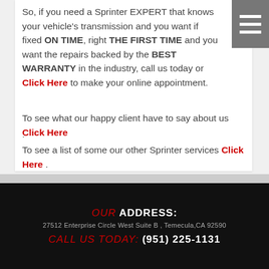So, if you need a Sprinter EXPERT that knows your vehicle's transmission and you want if fixed ON TIME, right THE FIRST TIME and you want the repairs backed by the BEST WARRANTY in the industry, call us today or Click Here to make your online appointment.
To see what our happy client have to say about us Click Here .
To see a list of some our other Sprinter services Click Here .
OUR ADDRESS: 27512 Enterprise Circle West Suite B , Temecula,CA 92590 CALL US TODAY: (951) 225-1131